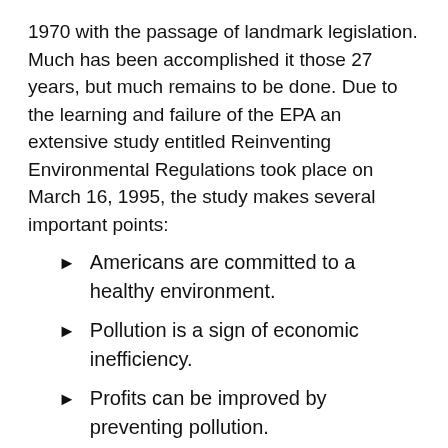1970 with the passage of landmark legislation. Much has been accomplished it those 27 years, but much remains to be done. Due to the learning and failure of the EPA an extensive study entitled Reinventing Environmental Regulations took place on March 16, 1995, the study makes several important points:
Americans are committed to a healthy environment.
Pollution is a sign of economic inefficiency.
Profits can be improved by preventing pollution.
Better decisions result from collaborative processes than adversarial ones.
Regulations allowing flexibility can provide